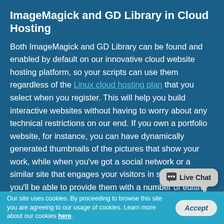ImageMagick and GD Library in Cloud Hosting
Both ImageMagick and GD Library can be found and enabled by default on our innovative cloud website hosting platform, so your scripts can use them regardless of the Linux cloud hosting plan that you select when you register. This will help you build interactive websites without having to worry about any technical restrictions on our end. If you own a portfolio website, for instance, you can have dynamically generated thumbnails of the pictures that show your work, while when you've got a social network or a similar site that engages your visitors in some way, you'll be able to provide them with a number of editing solutions for the photos that they upload. You can also convert text to images, which will provide you with various
[Figure (other): Live Chat speech bubble widget overlay in bottom right]
Our site uses cookies. By proceeding to browse this site you are agreeing to our usage of cookies. Learn more about our cookies here.